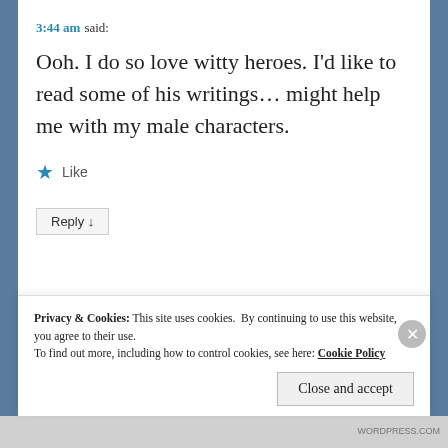3:44 am said:
Ooh. I do so love witty heroes. I'd like to read some of his writings… might help me with my male characters.
★ Like
Reply ↓
Privacy & Cookies: This site uses cookies. By continuing to use this website, you agree to their use. To find out more, including how to control cookies, see here: Cookie Policy
Close and accept